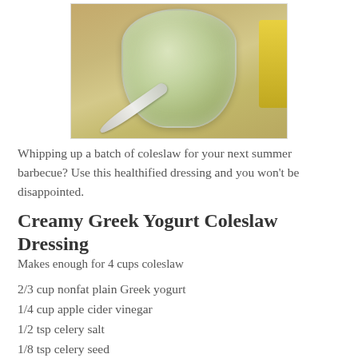[Figure (photo): Overhead view of coleslaw in a glass jar with a spoon, on a wooden surface, with a yellow object to the right]
Whipping up a batch of coleslaw for your next summer barbecue? Use this healthified dressing and you won't be disappointed.
Creamy Greek Yogurt Coleslaw Dressing
Makes enough for 4 cups coleslaw
2/3 cup nonfat plain Greek yogurt
1/4 cup apple cider vinegar
1/2 tsp celery salt
1/8 tsp celery seed
1/8 tsp garlic powder